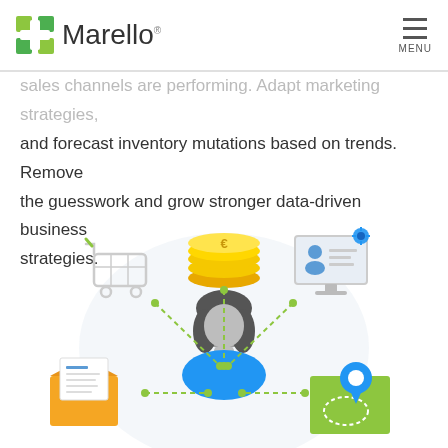Marello
sales channels are performing. Adapt marketing strategies, and forecast inventory mutations based on trends. Remove the guesswork and grow stronger data-driven business strategies.
[Figure (illustration): An infographic showing a central female avatar figure connected by dashed lines to surrounding icons: a shopping cart (top-left), gold coins with euro symbol (top-center), a computer monitor with settings/profile (top-right), an email/envelope with document (bottom-left), and a map with location pin (bottom-right). All icons are on a light circular background.]